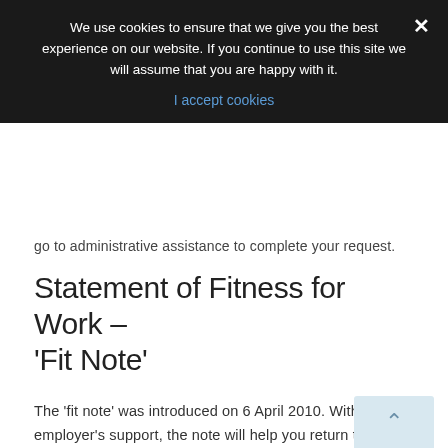We use cookies to ensure that we give you the best experience on our website. If you continue to use this site we will assume that you are happy with it.
I accept cookies
go to administrative assistance to complete your request.
Statement of Fitness for Work – 'Fit Note'
The 'fit note' was introduced on 6 April 2010. With your employer's support, the note will help you return to work sooner by providing more information about the effects of your illness or injury.
For more information see the DirectGov website (where this information was sourced).